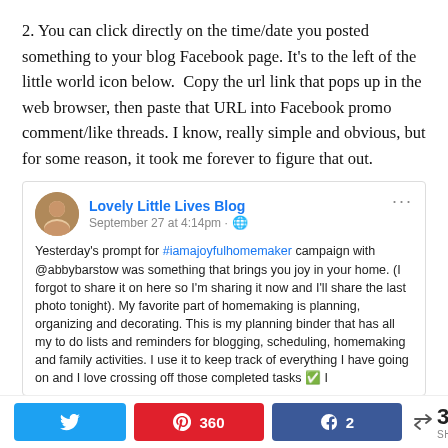2. You can click directly on the time/date you posted something to your blog Facebook page. It’s to the left of the little world icon below.  Copy the url link that pops up in the web browser, then paste that URL into Facebook promo comment/like threads. I know, really simple and obvious, but for some reason, it took me forever to figure that out.
[Figure (screenshot): Facebook post from 'Lovely Little Lives Blog' dated September 27 at 4:14pm showing a post about #iamajoyfulhomemaker campaign with @abbybarstow, discussing a planning binder for homemaking.]
Privacy & Cookies: This site uses cookies. By continuing to use this website, you agree to their use.
To find out more, including how to control cookies, see here: Cookie Policy
Twitter share button, Pinterest 360 shares, Facebook 2 shares, 362 total shares